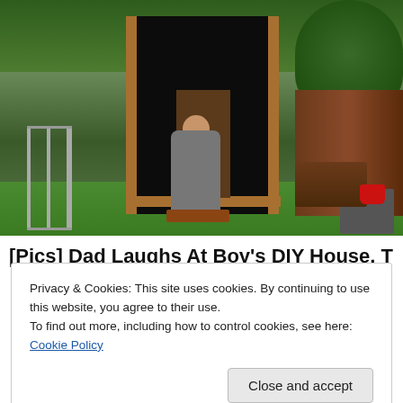[Figure (photo): A young boy standing in the doorway of a small DIY backyard playhouse/shed, covered in black material with wooden corner trim. A ladder is visible on the left, a fence and woodpile in the background, and a red planter pot on the right. The yard has green grass.]
[Pics] Dad Laughs At Boy's DIY House, Then He
Privacy & Cookies: This site uses cookies. By continuing to use this website, you agree to their use.
To find out more, including how to control cookies, see here: Cookie Policy
Close and accept